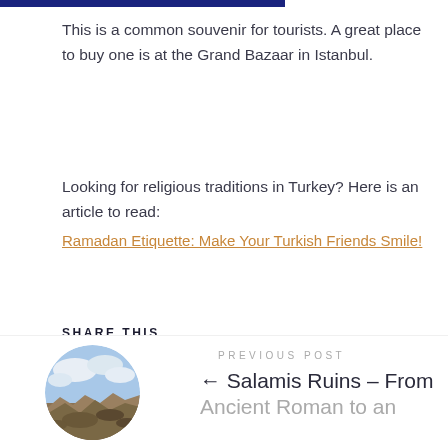This is a common souvenir for tourists. A great place to buy one is at the Grand Bazaar in Istanbul.
Looking for religious traditions in Turkey? Here is an article to read:
Ramadan Etiquette: Make Your Turkish Friends Smile!
SHARE THIS
[Figure (infographic): Social share icons: Facebook (f), Twitter (bird), Pinterest (P), Email (envelope)]
PREVIOUS POST
[Figure (photo): Circular cropped photo showing ancient ruins with rocky landscape and cloudy sky]
← Salamis Ruins – From Ancient Roman to an